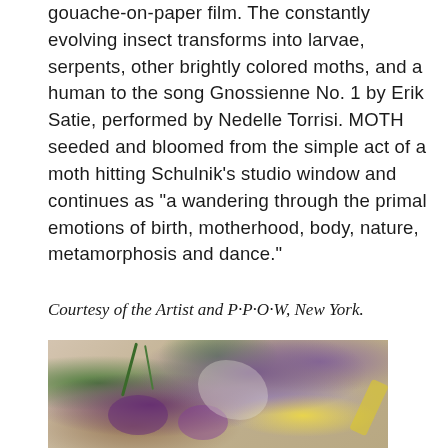gouache-on-paper film. The constantly evolving insect transforms into larvae, serpents, other brightly colored moths, and a human to the song Gnossienne No. 1 by Erik Satie, performed by Nedelle Torrisi. MOTH seeded and bloomed from the simple act of a moth hitting Schulnik’s studio window and continues as “a wandering through the primal emotions of birth, motherhood, body, nature, metamorphosis and dance.”
Courtesy of the Artist and P·P·O·W, New York.
[Figure (photo): Close-up photograph of colorful botanical materials including purple flowers, green plant sprigs, and yellow accents arranged on a light background, appearing to include various flowers and botanical elements with glittery or crystalline textures.]